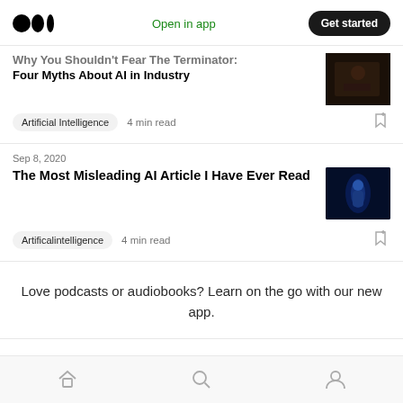Medium logo | Open in app | Get started
Why You Shouldn't Fear The Terminator: Four Myths About AI in Industry
Artificial Intelligence   4 min read
Sep 8, 2020
The Most Misleading AI Article I Have Ever Read
Artificalintelligence   4 min read
Love podcasts or audiobooks? Learn on the go with our new app.
Home | Search | Profile